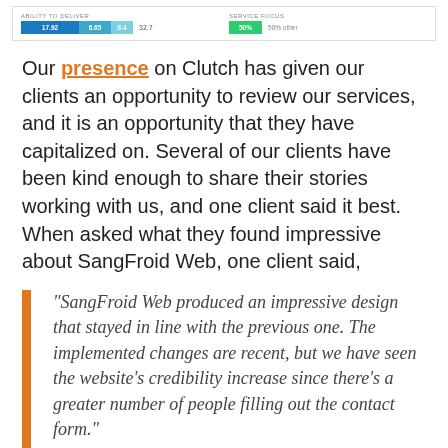[Figure (infographic): Clutch widget showing Ability to Deliver score (17.92, 6.65, 8.4) and Service Focus (50%, 50% other)]
Our presence on Clutch has given our clients an opportunity to review our services, and it is an opportunity that they have capitalized on. Several of our clients have been kind enough to share their stories working with us, and one client said it best. When asked what they found impressive about SangFroid Web, one client said,
“SangFroid Web produced an impressive design that stayed in line with the previous one. The implemented changes are recent, but we have seen the website’s credibility increase since there’s a greater number of people filling out the contact form.”